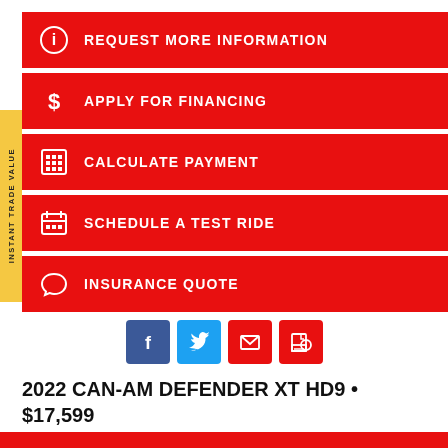REQUEST MORE INFORMATION
APPLY FOR FINANCING
CALCULATE PAYMENT
SCHEDULE A TEST RIDE
INSURANCE QUOTE
[Figure (infographic): Social sharing icons: Facebook, Twitter, Email, Print]
2022 CAN-AM DEFENDER XT HD9 • $17,599